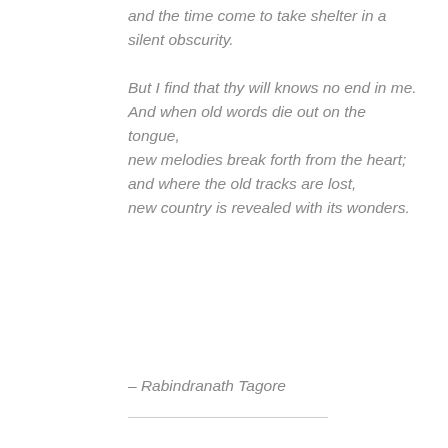and the time come to take shelter in a silent obscurity.

But I find that thy will knows no end in me.
And when old words die out on the tongue,
new melodies break forth from the heart;
and where the old tracks are lost,
new country is revealed with its wonders.
– Rabindranath Tagore